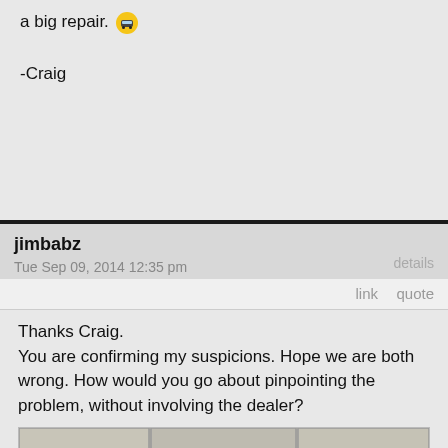a big repair. [emoji]
-Craig
jimbabz
Tue Sep 09, 2014 12:35 pm
details
link   quote
Thanks Craig.
You are confirming my suspicions. Hope we are both wrong. How would you go about pinpointing the problem, without involving the dealer?
[Figure (photo): Two men near a motorcycle/scooter in front of a stone wall. One man in a suit with sunglasses stands to the left, and another person in a helmet and camouflage jacket sits on the motorcycle on the right.]